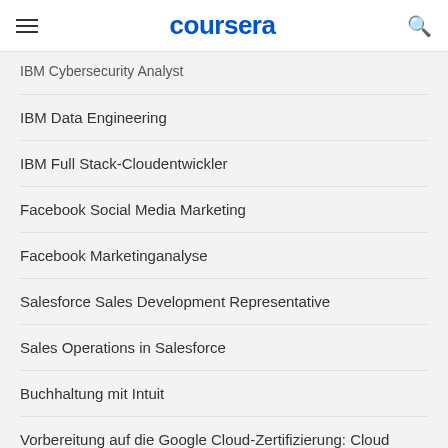coursera
IBM Cybersecurity Analyst
IBM Data Engineering
IBM Full Stack-Cloudentwickler
Facebook Social Media Marketing
Facebook Marketinganalyse
Salesforce Sales Development Representative
Sales Operations in Salesforce
Buchhaltung mit Intuit
Vorbereitung auf die Google Cloud-Zertifizierung: Cloud Architect
Vorbereitung auf die Google Cloud-Zertifizierung: Cloud Data Engineer
Eine Karriere starten
Auf eine Zertifizierung vorbereiten
Bringen Sie Ihre Karriere voran